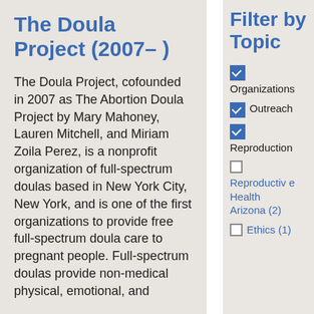The Doula Project (2007– )
The Doula Project, cofounded in 2007 as The Abortion Doula Project by Mary Mahoney, Lauren Mitchell, and Miriam Zoila Perez, is a nonprofit organization of full-spectrum doulas based in New York City, New York, and is one of the first organizations to provide free full-spectrum doula care to pregnant people. Full-spectrum doulas provide non-medical physical, emotional, and
Filter by Topic
Organizations
Outreach
Reproduction
Reproductive Health Arizona (2)
Ethics (1)